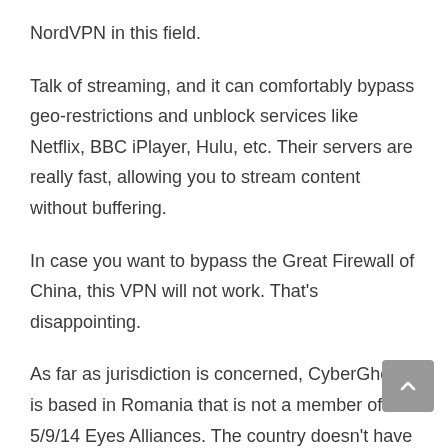NordVPN in this field.
Talk of streaming, and it can comfortably bypass geo-restrictions and unblock services like Netflix, BBC iPlayer, Hulu, etc. Their servers are really fast, allowing you to stream content without buffering.
In case you want to bypass the Great Firewall of China, this VPN will not work. That’s disappointing.
As far as jurisdiction is concerned, CyberGhost is based in Romania that is not a member of 5/9/14 Eyes Alliances. The country doesn’t have a mandatory data retention policy.